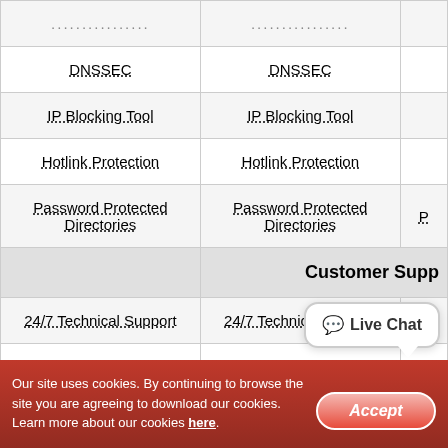|  |  |  |
| --- | --- | --- |
| ................ | ................ |  |
| DNSSEC | DNSSEC |  |
| IP Blocking Tool | IP Blocking Tool |  |
| Hotlink Protection | Hotlink Protection |  |
| Password Protected Directories | Password Protected Directories | P... |
| Customer Supp... |  |  |
| 24/7 Technical Support | 24/7 Technical Support | 24... |
| Phone Support | Phone Support |  |
| Live Chat Support | Live Chat Support |  |
Our site uses cookies. By continuing to browse the site you are agreeing to download our cookies. Learn more about our cookies here.